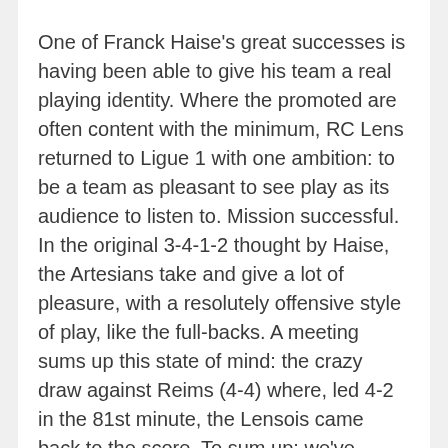One of Franck Haise's great successes is having been able to give his team a real playing identity. Where the promoted are often content with the minimum, RC Lens returned to Ligue 1 with one ambition: to be a team as pleasant to see play as its audience to listen to. Mission successful. In the original 3-4-1-2 thought by Haise, the Artesians take and give a lot of pleasure, with a resolutely offensive style of play, like the full-backs. A meeting sums up this state of mind: the crazy draw against Reims (4-4) where, led 4-2 in the 81st minute, the Lensois came back to the score. To sum up: we've rarely been bored in front of an RC Lens game this season. And, the icing on the cake, it has also been successful at the club against the champions of the